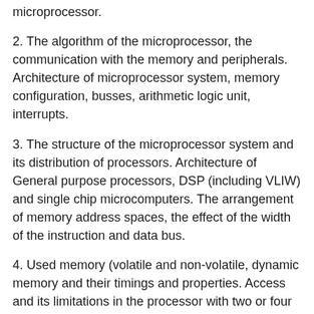microprocessor.
2. The algorithm of the microprocessor, the communication with the memory and peripherals. Architecture of microprocessor system, memory configuration, busses, arithmetic logic unit, interrupts.
3. The structure of the microprocessor system and its distribution of processors. Architecture of General purpose processors, DSP (including VLIW) and single chip microcomputers. The arrangement of memory address spaces, the effect of the width of the instruction and data bus.
4. Used memory (volatile and non-volatile, dynamic memory and their timings and properties. Access and its limitations in the processor with two or four phases. Multi-channel memory access.5. The programming of the processor, machine code, assembler, assembler with arithmetic library, compiled languages (C language, etc), interpreted cross-platform languages.
6. The phase of the processing instruction, the increase of computational power of processors, the pipeline, the performance of the processor, cache. Principles of CISC, SIMD, MIMD. The architecture of